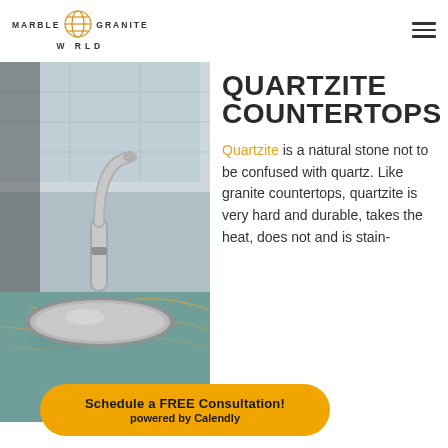[Figure (logo): Marble Granite World logo with golden globe/sphere icon between MARBLE GRANITE text on top row and WORLD text below]
QUARTZITE COUNTERTOPS
[Figure (photo): Kitchen photo showing a silver/stainless steel faucet and undermount sink over a colorful quartzite countertop with blue/teal stone pattern and gold veining]
Quartzite is a natural stone not to be confused with quartz. Like granite countertops, quartzite is very hard and durable, takes the heat, does not and is stain-
Schedule a FREE Consultation!
powered by Calendly